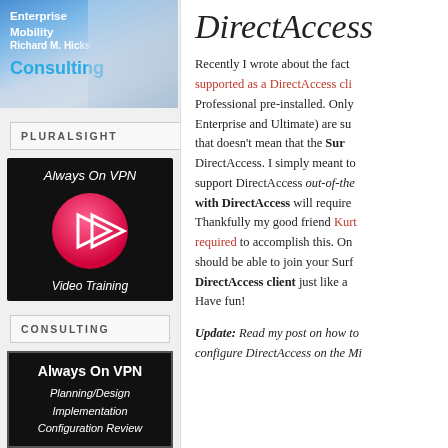[Figure (photo): Sidebar photo of Richard M. Hicks with Enterprise Mobility Consulting branding]
PLURALSIGHT
[Figure (screenshot): Always On VPN Video Training sidebar advertisement with play button on dark background]
CONSULTING
[Figure (infographic): Always On VPN book sidebar with Planning/Design, Implementation, Configuration Review]
DirectAccess
Recently I wrote about the fact that supported as a DirectAccess cli Professional pre-installed. Only Enterprise and Ultimate) are su that doesn't mean that the Sur DirectAccess. I simply meant to support DirectAccess out-of-the with DirectAccess will require Thankfully my good friend Kurt required to accomplish this. On should be able to join your Surf DirectAccess client just like a Have fun!
Update: Read my post on how to configure DirectAccess on the Mi